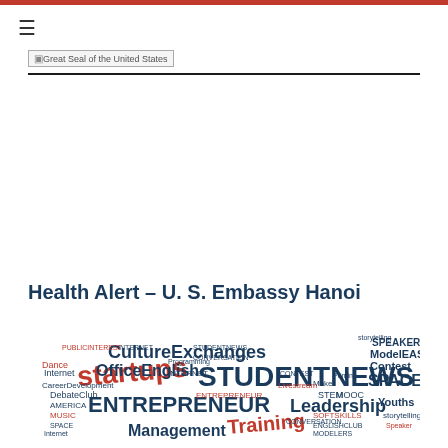☰ [navigation menu icon]
[Figure (logo): Great Seal of the United States logo/placeholder with text label]
Health Alert – U. S. Embassy Hanoi
[Figure (infographic): Word cloud in the shape of the United States featuring words: CultureExchanges, OfficeEnglish, startups, STUDENTNEWS, ENTREPRENEUR, Training, Management, Internet, DebateClub, CareerDevelopment, Contest, Leadership, SPACE, STEM, MOOC, Dance, Music, AMERICA, ModelEAS, SPEAKER, Youths, Maker, Printing, Livestream, Internet, SOFTSKILLS, CONVERSATION, ENGLISHCLUB, MODELERS and many others in red and navy blue colors]